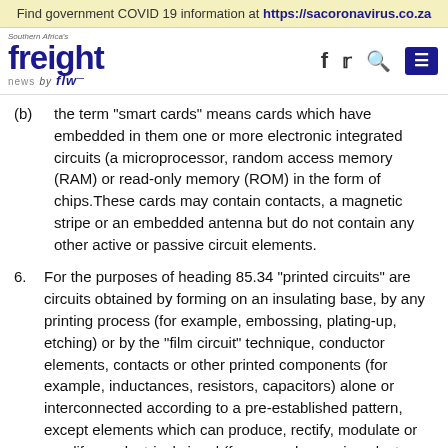Find government COVID 19 information at https://sacoronavirus.co.za
[Figure (logo): Southern Africa's Freight News by FLW logo with Facebook, Twitter, Search, and Menu icons]
(b) the term "smart cards" means cards which have embedded in them one or more electronic integrated circuits (a microprocessor, random access memory (RAM) or read-only memory (ROM) in the form of chips.These cards may contain contacts, a magnetic stripe or an embedded antenna but do not contain any other active or passive circuit elements.
6. For the purposes of heading 85.34 "printed circuits" are circuits obtained by forming on an insulating base, by any printing process (for example, embossing, plating-up, etching) or by the "film circuit" technique, conductor elements, contacts or other printed components (for example, inductances, resistors, capacitors) alone or interconnected according to a pre-established pattern, except elements which can produce, rectify, modulate or amplify an electrical signal (for example, semiconductor elements). The expression "printed circuits" does not cover circuits combined with elements other than those